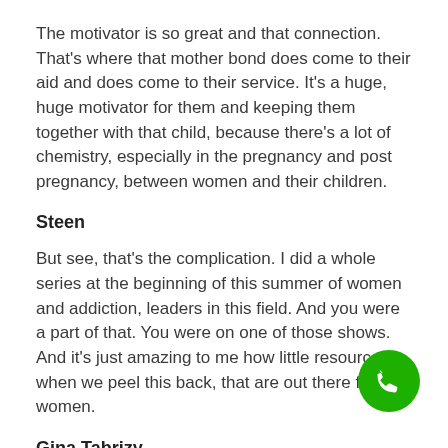The motivator is so great and that connection. That's where that mother bond does come to their aid and does come to their service. It's a huge, huge motivator for them and keeping them together with that child, because there's a lot of chemistry, especially in the pregnancy and post pregnancy, between women and their children.
Steen
But see, that's the complication. I did a whole series at the beginning of this summer of women and addiction, leaders in this field. And you were a part of that. You were on one of those shows. And it's just amazing to me how little resources, when we peel this back, that are out there for women.
Gina Tabrizy
Very little. Very little in terms of the family, keeping the together with their children.